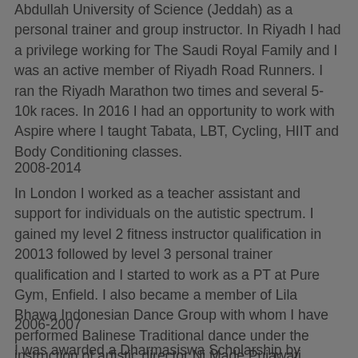Abdullah University of Science (Jeddah) as a personal trainer and group instructor. In Riyadh I had a privilege working for The Saudi Royal Family and I was an active member of Riyadh Road Runners. I ran the Riyadh Marathon two times and several 5-10k races. In 2016 I had an opportunity to work with Aspire where I taught Tabata, LBT, Cycling, HIIT and Body Conditioning classes.
2008-2014
In London I worked as a teacher assistant and support for individuals on the autistic spectrum. I gained my level 2 fitness instructor qualification in 20013 followed by level 3 personal trainer qualification and I started to work as a PT at Pure Gym, Enfield. I also became a member of Lila Bhawa Indonesian Dance Group with whom I have performed Balinese Traditional dance under the instruction of artistic director Ni Made Pujawati.
2006-2007
I was awarded a Dharmasiswa Scholarship by